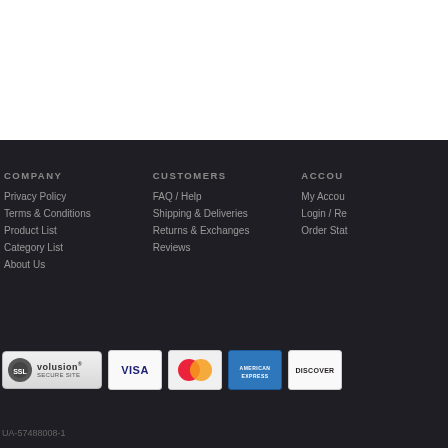COMPANY
Privacy Policy
Terms & Conditions
Product List
Category List
About Us
CUSTOMERS
FAQ / Help
Shipping & Deliveries
Returns & Exchanges
Reviews
ACCOU
My Accou
Login / Re
Order Stat
[Figure (logo): SSL Volusion Secure Site badge and payment method badges: VISA, MasterCard, American Express, Discover]
UA-57488008-1